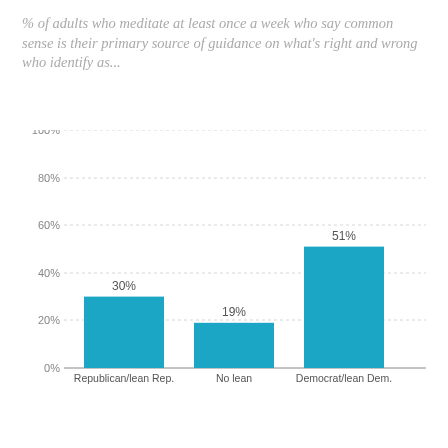% of adults who meditate at least once a week who say common sense is their primary source of guidance on what's right and wrong who identify as...
[Figure (bar-chart): % of adults who meditate at least once a week who say common sense is their primary source of guidance on what's right and wrong who identify as...]